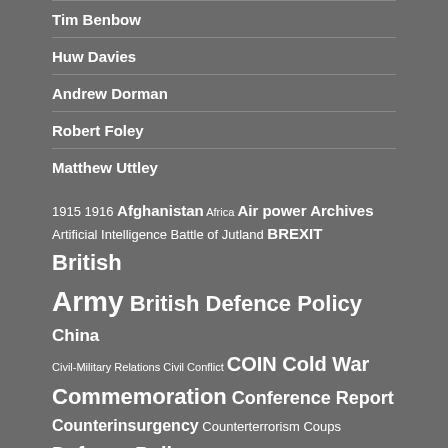Tim Benbow
Huw Davies
Andrew Dorman
Robert Foley
Matthew Uttley
1915 1916 Afghanistan Africa Air power Archives Artificial Intelligence Battle of Jutland BREXIT British Army British Defence Policy China Civil-Military Relations Civil Conflict COIN Cold War Commemoration Conference Report Counterinsurgency Counterterrorism Coups Defence Policy Deterrence Diplomacy East meets West Empire Ethics